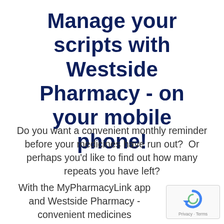Manage your scripts with Westside Pharmacy - on your mobile phone!
Do you want a convenient monthly reminder before your medicines have run out?  Or perhaps you'd like to find out how many repeats you have left?
With the MyPharmacyLink app and Westside Pharmacy - convenient medicines management is a breeze! Order your medicines at home or on
[Figure (other): reCAPTCHA badge with circular arrow icon and 'Privacy - Terms' text]